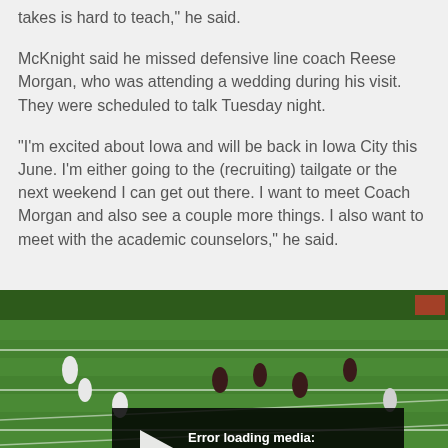takes is hard to teach," he said.
McKnight said he missed defensive line coach Reese Morgan, who was attending a wedding during his visit. They were scheduled to talk Tuesday night.
"I'm excited about Iowa and will be back in Iowa City this June. I'm either going to the (recruiting) tailgate or the next weekend I can get out there. I want to meet Coach Morgan and also see a couple more things. I also want to meet with the academic counselors," he said.
[Figure (screenshot): Football game footage on a green field with players visible. An error overlay reads 'Error loading media: File could not be played' with a play button icon on a dark semi-transparent background.]